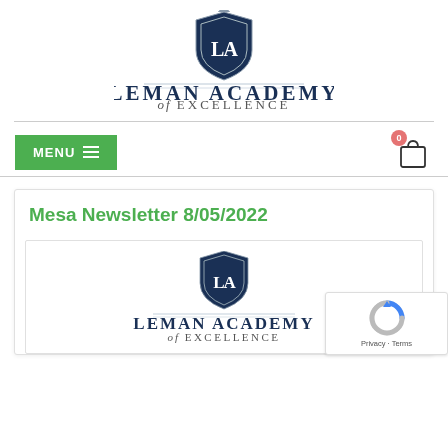[Figure (logo): Leman Academy of Excellence logo with shield emblem and text]
[Figure (logo): Navigation menu bar with green MENU button and cart icon]
Mesa Newsletter 8/05/2022
[Figure (logo): Leman Academy of Excellence logo repeated inside content card]
[Figure (other): reCAPTCHA badge with Privacy and Terms text]